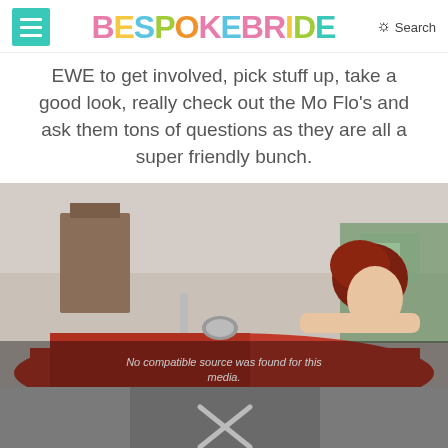BESPOKE BRIDE — Search
EWE to get involved, pick stuff up, take a good look, really check out the Mo Flo's and ask them tons of questions as they are all a super friendly bunch.
[Figure (photo): A woman with red hair leaning out of a red convertible car, with graffiti-covered buildings in the background. Urban setting.]
[Figure (photo): Partially visible image below, appears to be another photo with an X placeholder overlay indicating media could not be loaded.]